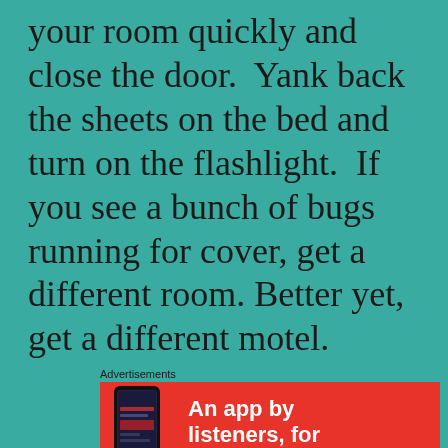your room quickly and close the door.  Yank back the sheets on the bed and turn on the flashlight.  If you see a bunch of bugs running for cover, get a different room.  Better yet, get a different motel.
Advertisements
[Figure (illustration): Red advertisement banner with a smartphone image on the left and text 'An app by listeners, for' on the right in white bold text on a red background.]